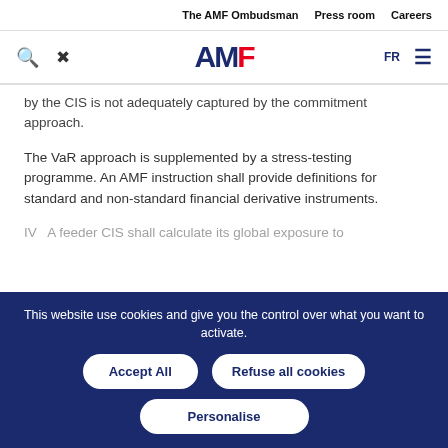The AMF Ombudsman   Press room   Careers
[Figure (logo): AMF logo — AM in dark navy, F in red, with search and tools icons on the left and FR language selector and menu icon on the right]
by the CIS is not adequately captured by the commitment approach.
The VaR approach is supplemented by a stress-testing programme. An AMF instruction shall provide definitions for standard and non-standard financial derivative instruments.
IV   A feeder CIS shall calculate its global exposure to
This website use cookies and give you the control over what you want to activate.
Accept All   Refuse all cookies   Personalise